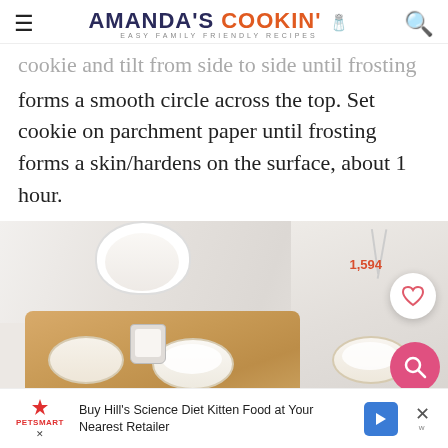AMANDA'S COOKIN' — EASY FAMILY FRIENDLY RECIPES
cookie and tilt from side to side until frosting forms a smooth circle across the top. Set cookie on parchment paper until frosting forms a skin/hardens on the surface, about 1 hour.
[Figure (photo): Photo showing cookies being frosted on a wooden cutting board, with a bowl of white frosting and a measuring cup. A like button showing 1,594 and a search button are overlaid on the image.]
Buy Hill's Science Diet Kitten Food at Your Nearest Retailer